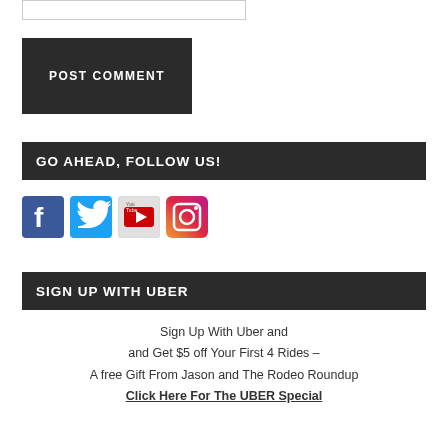[Figure (screenshot): Text input box (form field)]
POST COMMENT
GO AHEAD, FOLLOW US!
[Figure (infographic): Social media icons: Facebook, Twitter, YouTube, Instagram]
SIGN UP WITH UBER
Sign Up With Uber and and Get $5 off Your First 4 Rides – A free Gift From Jason and The Rodeo Roundup
Click Here For The UBER Special